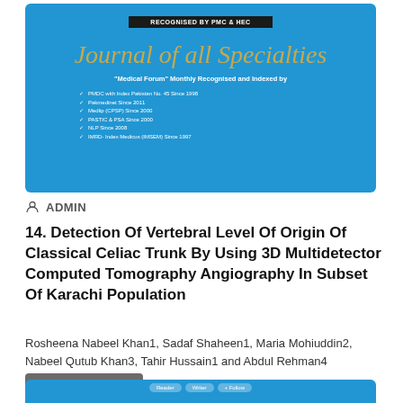[Figure (other): Journal of all Specialties magazine cover card on blue background showing journal title in gold script, recognised badge, subtitle 'Medical Forum Monthly Recognised and Indexed by', and list of indexing bodies]
ADMIN
14. Detection Of Vertebral Level Of Origin Of Classical Celiac Trunk By Using 3D Multidetector Computed Tomography Angiography In Subset Of Karachi Population
Rosheena Nabeel Khan1, Sadaf Shaheen1, Maria Mohiuddin2, Nabeel Qutub Khan3, Tahir Hussain1 and Abdul Rehman4
View Abstract